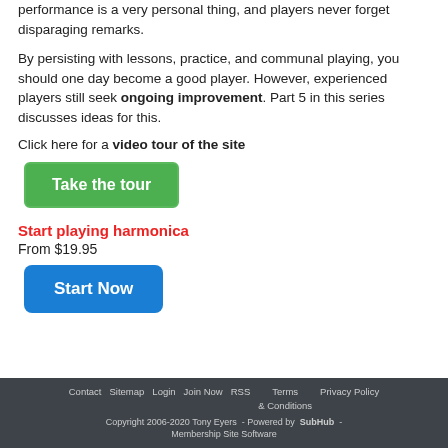performance is a very personal thing, and players never forget disparaging remarks.
By persisting with lessons, practice, and communal playing, you should one day become a good player. However, experienced players still seek ongoing improvement. Part 5 in this series discusses ideas for this.
Click here for a video tour of the site
[Figure (other): Green button labeled 'Take the tour']
Start playing harmonica
From $19.95
[Figure (other): Blue button labeled 'Start Now']
Contact   Sitemap   Login   Join Now   RSS   Terms & Conditions   Privacy Policy   Copyright 2006-2020 Tony Eyers - Powered by SubHub - Membership Site Software